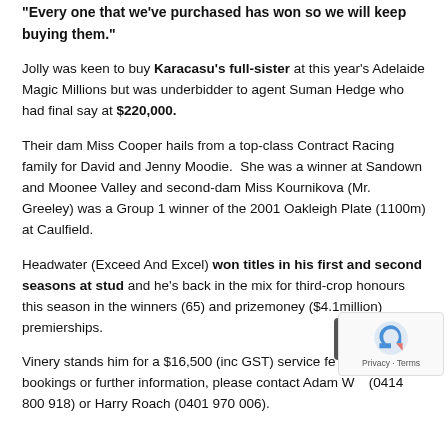"Every one that we've purchased has won so we will keep buying them."
Jolly was keen to buy Karacasu's full-sister at this year's Adelaide Magic Millions but was underbidder to agent Suman Hedge who had final say at $220,000.
Their dam Miss Cooper hails from a top-class Contract Racing family for David and Jenny Moodie.  She was a winner at Sandown and Moonee Valley and second-dam Miss Kournikova (Mr. Greeley) was a Group 1 winner of the 2001 Oakleigh Plate (1100m) at Caulfield.
Headwater (Exceed And Excel) won titles in his first and second seasons at stud and he's back in the mix for third-crop honours this season in the winners (65) and prizemoney ($4.1million) premierships.
Vinery stands him for a $16,500 (inc GST) service fee. For bookings or further information, please contact Adam W... (0414 800 918) or Harry Roach (0401 970 006).